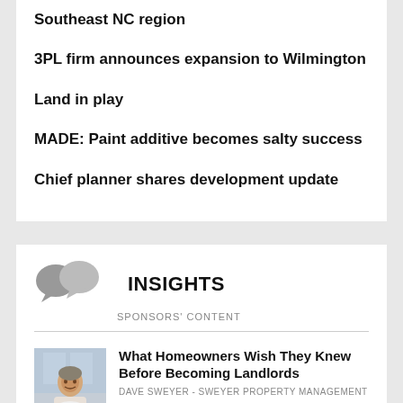Southeast NC region
3PL firm announces expansion to Wilmington
Land in play
MADE: Paint additive becomes salty success
Chief planner shares development update
INSIGHTS
SPONSORS' CONTENT
What Homeowners Wish They Knew Before Becoming Landlords
DAVE SWEYER - SWEYER PROPERTY MANAGEMENT
[Figure (photo): Headshot of Dave Sweyer, a middle-aged man in a suit, smiling, seated in an office environment]